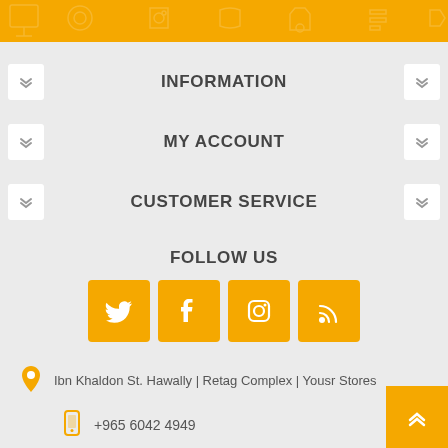[Figure (illustration): Orange banner with white icon outlines (electronics/shopping related)]
INFORMATION
MY ACCOUNT
CUSTOMER SERVICE
FOLLOW US
[Figure (infographic): Four orange square social media buttons: Twitter, Facebook, Instagram, RSS feed]
Ibn Khaldon St. Hawally | Retag Complex | Yousr Stores
+965 6042 4949